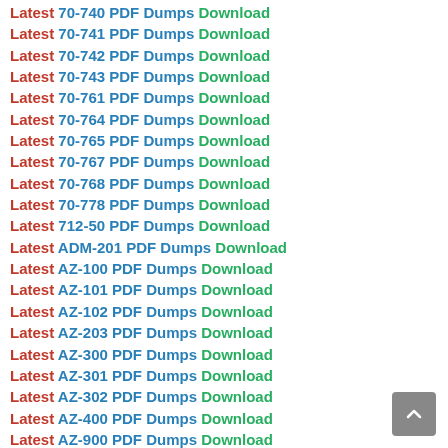Latest 70-740 PDF Dumps Download
Latest 70-741 PDF Dumps Download
Latest 70-742 PDF Dumps Download
Latest 70-743 PDF Dumps Download
Latest 70-761 PDF Dumps Download
Latest 70-764 PDF Dumps Download
Latest 70-765 PDF Dumps Download
Latest 70-767 PDF Dumps Download
Latest 70-768 PDF Dumps Download
Latest 70-778 PDF Dumps Download
Latest 712-50 PDF Dumps Download
Latest ADM-201 PDF Dumps Download
Latest AZ-100 PDF Dumps Download
Latest AZ-101 PDF Dumps Download
Latest AZ-102 PDF Dumps Download
Latest AZ-203 PDF Dumps Download
Latest AZ-300 PDF Dumps Download
Latest AZ-301 PDF Dumps Download
Latest AZ-302 PDF Dumps Download
Latest AZ-400 PDF Dumps Download
Latest AZ-900 PDF Dumps Download